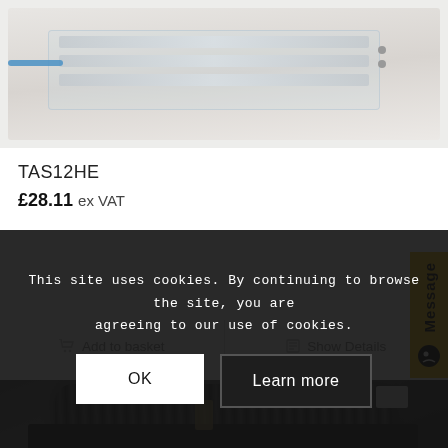[Figure (photo): Product photo of TAS12HE — transparent/clear rectangular housing with internal components (rods, blue wire)]
TAS12HE
£28.11 ex VAT
Add to basket
Show Details
[Figure (photo): Product photo of a crossflow/tangential blower fan with black metal frame and cylindrical rotor]
This site uses cookies. By continuing to browse the site, you are agreeing to our use of cookies.
OK
Learn more